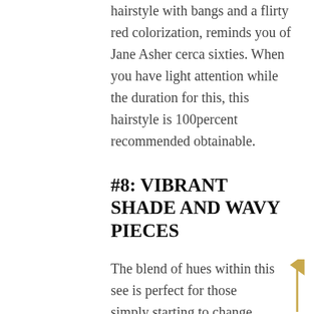hairstyle with bangs and a flirty red colorization, reminds you of Jane Asher cerca sixties. When you have light attention while the duration for this, this hairstyle is 100percent recommended obtainable.
#8: VIBRANT SHADE AND WAVY PIECES
The blend of hues within this see is perfect for those simply starting to change grey because we nonetheless see a pop of organic
[Figure (illustration): A golden/yellow arrow pointing upward on the right side of the page]